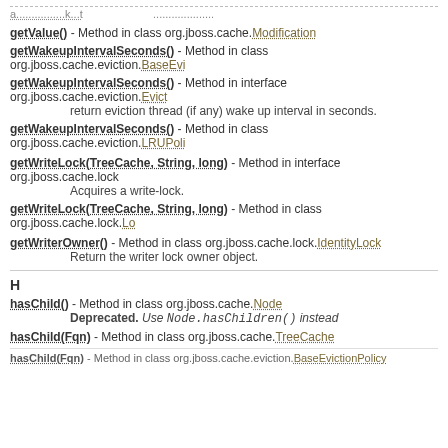getValue() - Method in class org.jboss.cache.Modification
getWakeupIntervalSeconds() - Method in class org.jboss.cache.eviction.BaseEvi...
getWakeupIntervalSeconds() - Method in interface org.jboss.cache.eviction.Evict...
return eviction thread (if any) wake up interval in seconds.
getWakeupIntervalSeconds() - Method in class org.jboss.cache.eviction.LRUPoli...
getWriteLock(TreeCache, String, long) - Method in interface org.jboss.cache.loc...
Acquires a write-lock.
getWriteLock(TreeCache, String, long) - Method in class org.jboss.cache.lock.Lo...
getWriterOwner() - Method in class org.jboss.cache.lock.IdentityLock
Return the writer lock owner object.
H
hasChild() - Method in class org.jboss.cache.Node
Deprecated. Use Node.hasChildren() instead
hasChild(Fqn) - Method in class org.jboss.cache.TreeCache
hasChild(Fqn) - Method in class org.jboss.cache.eviction.BaseEvictionPolicy